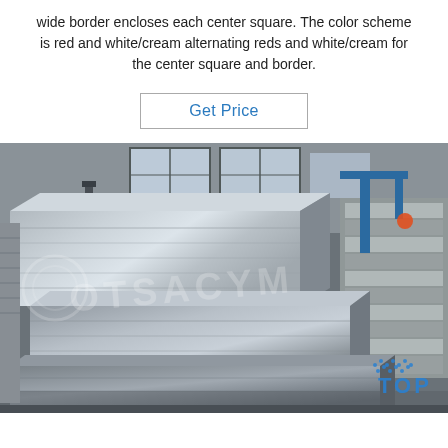wide border encloses each center square. The color scheme is red and white/cream alternating reds and white/cream for the center square and border.
Get Price
[Figure (photo): Industrial warehouse interior showing stacked aluminum plates/sheets on wooden pallets, with blue crane equipment visible in background and a watermark overlay. 'TOP' logo with blue dots visible in bottom right corner.]